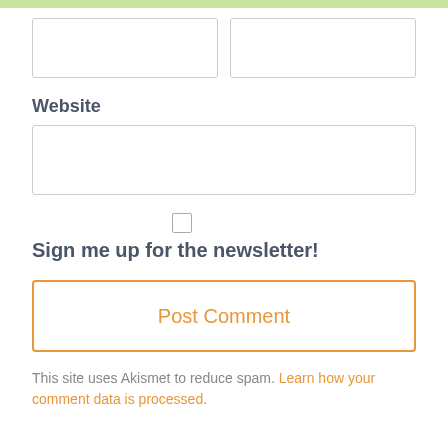[Figure (screenshot): Two side-by-side empty input text boxes at the top of a comment form]
Website
[Figure (screenshot): Full-width empty input text box for website URL]
[Figure (screenshot): Checkbox (unchecked) for newsletter sign-up]
Sign me up for the newsletter!
[Figure (screenshot): Post Comment button with orange border and orange text]
This site uses Akismet to reduce spam. Learn how your comment data is processed.